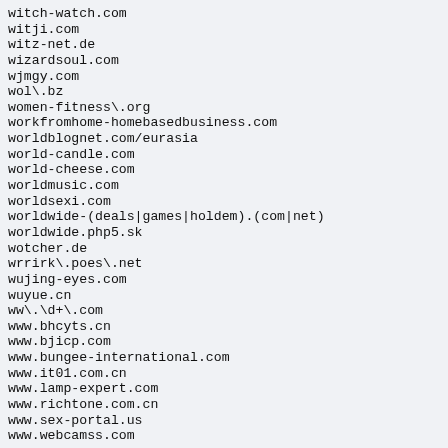witch-watch.com
witji.com
witz-net.de
wizardsoul.com
wjmgy.com
wol\.bz
women-fitness\.org
workfromhome-homebasedbusiness.com
worldblognet.com/eurasia
world-candle.com
world-cheese.com
worldmusic.com
worldsexi.com
worldwide-(deals|games|holdem).(com|net)
worldwide.php5.sk
wotcher.de
wrrirk\.poes\.net
wujing-eyes.com
wuyue.cn
ww\.\d+\.com
www.bhcyts.cn
www.bjicp.com
www.bungee-international.com
www.it01.com.cn
www.lamp-expert.com
www.richtone.com.cn
www.sex-portal.us
www.webcamss.com